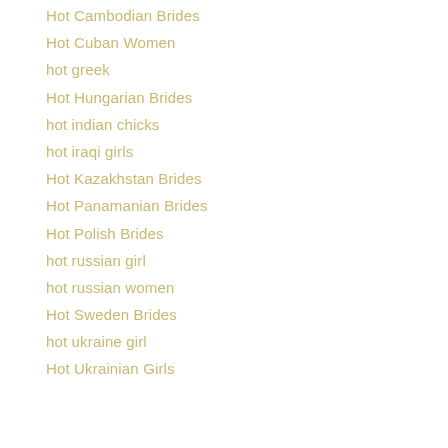Hot Cambodian Brides
Hot Cuban Women
hot greek
Hot Hungarian Brides
hot indian chicks
hot iraqi girls
Hot Kazakhstan Brides
Hot Panamanian Brides
Hot Polish Brides
hot russian girl
hot russian women
Hot Sweden Brides
hot ukraine girl
Hot Ukrainian Girls